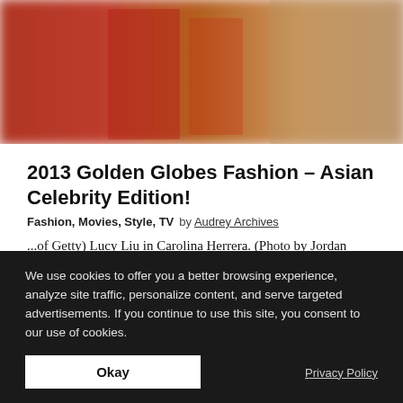[Figure (photo): Blurred photo of people, red and tan tones visible at top of page]
2013 Golden Globes Fashion – Asian Celebrity Edition!
Fashion, Movies, Style, TV   by Audrey Archives
...of Getty) Lucy Liu in Carolina Herrera. (Photo by Jordan Strauss/Invision/AP) Hannah Simone. (Photo by Imeh Akpanudosen/Getty Images) Olivia Munn in Armani. (Photo courtesy of Yahoo!) Life of Pi's Ang...
[Figure (photo): Blurred partial photo at bottom of article area, dark and tan tones]
We use cookies to offer you a better browsing experience, analyze site traffic, personalize content, and serve targeted advertisements. If you continue to use this site, you consent to our use of cookies.
Okay
Privacy Policy